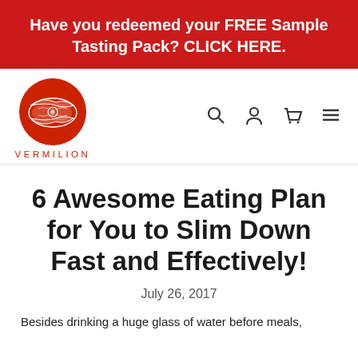Have you redeemed your FREE Sample Tasting Pack? CLICK HERE.
[Figure (logo): Vermilion brand logo with red circular fish illustration and text VERMILION below]
6 Awesome Eating Plan for You to Slim Down Fast and Effectively!
July 26, 2017
Besides drinking a huge glass of water before meals,